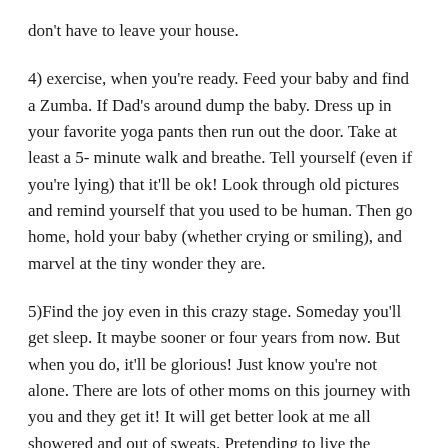don't have to leave your house.
4) exercise, when you're ready. Feed your baby and find a Zumba. If Dad's around dump the baby. Dress up in your favorite yoga pants then run out the door. Take at least a 5- minute walk and breathe. Tell yourself (even if you're lying) that it'll be ok! Look through old pictures and remind yourself that you used to be human. Then go home, hold your baby (whether crying or smiling), and marvel at the tiny wonder they are.
5)Find the joy even in this crazy stage. Someday you'll get sleep. It maybe sooner or four years from now. But when you do, it'll be glorious! Just know you're not alone. There are lots of other moms on this journey with you and they get it! It will get better look at me all showered and out of sweats. Pretending to live the carefree life.